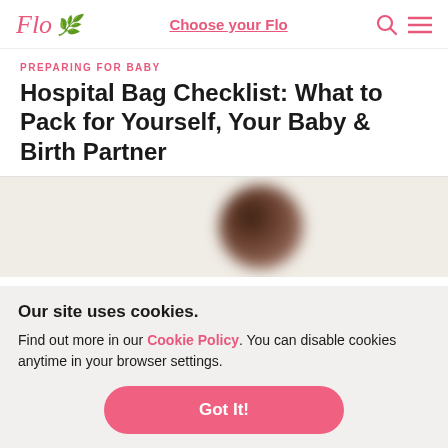Flo | Choose your Flo
PREPARING FOR BABY
Hospital Bag Checklist: What to Pack for Yourself, Your Baby & Birth Partner
[Figure (photo): Blurred circular photo of a person on a light beige background]
Our site uses cookies.
Find out more in our Cookie Policy. You can disable cookies anytime in your browser settings.
Got It!